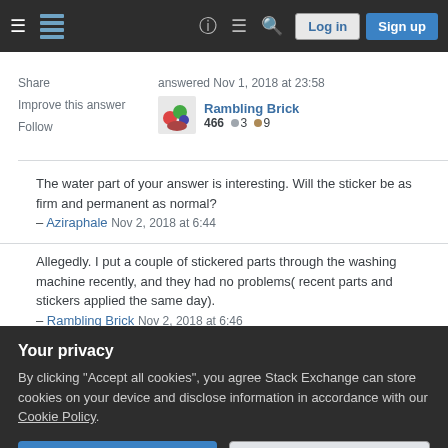Stack Exchange navigation bar with hamburger menu, logo, help, chat, search, Log in, Sign up buttons
Share
Improve this answer
Follow
answered Nov 1, 2018 at 23:58
Rambling Brick
466 ●3 ●9
The water part of your answer is interesting. Will the sticker be as firm and permanent as normal?
– Aziraphale Nov 2, 2018 at 6:44
Allegedly. I put a couple of stickered parts through the washing machine recently, and they had no problems( recent parts and stickers applied the same day).
– Rambling Brick Nov 2, 2018 at 6:46
Your privacy
By clicking "Accept all cookies", you agree Stack Exchange can store cookies on your device and disclose information in accordance with our Cookie Policy.
Accept all cookies
Customize settings
spot, but had already started sticking to the element